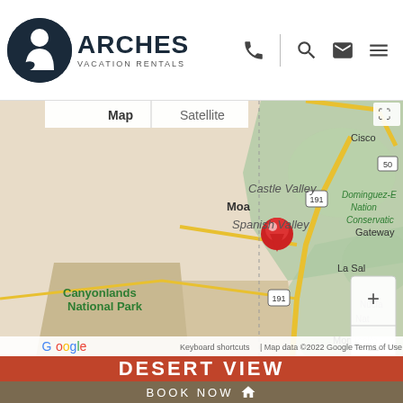[Figure (logo): Arches Vacation Rentals logo with dark circle icon and text]
[Figure (map): Google Maps screenshot showing Moab, Utah area with red location pin near Spanish Valley, showing Castle Valley, Canyonlands National Park, La Sal, Cisco, Gateway, and Dominguez-E Nation Conservati labels. Route 191 visible. Map data ©2022 Google.]
DESERT VIEW
BOOK NOW